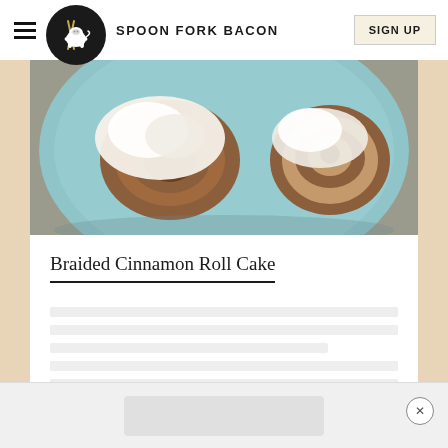SPOON FORK BACON
[Figure (photo): Overhead photo of two cinnamon rolls with white cream cheese frosting on a light blue plate, on a gray stone surface]
Braided Cinnamon Roll Cake
[Article body text, blurred/obscured in original]
[Figure (photo): Advertisement strip at the bottom with a close (X) button]